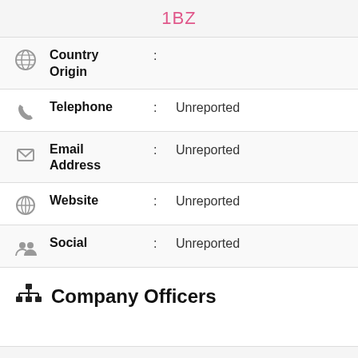1BZ
Country Origin :
Telephone : Unreported
Email Address : Unreported
Website : Unreported
Social : Unreported
Company Officers